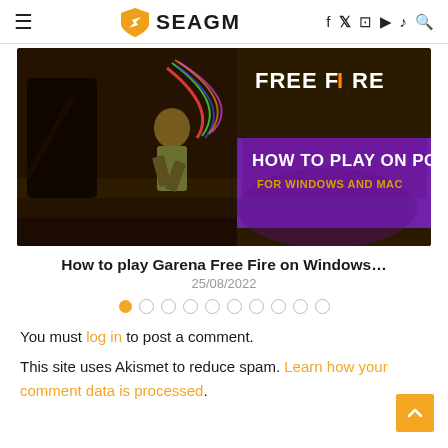SEAGM — hamburger menu, logo, social icons, search
[Figure (illustration): Free Fire promotional banner showing game characters with text 'FREE FIRE', 'HOW TO PLAY ON PC', 'FOR WINDOWS AND MAC' on a purple/dark background]
How to play Garena Free Fire on Windows…
25/08/2022
● ○ ○ ○ ○ ○ ○ ○ ○ ○ (pagination dots)
You must log in to post a comment.
This site uses Akismet to reduce spam. Learn how your comment data is processed.